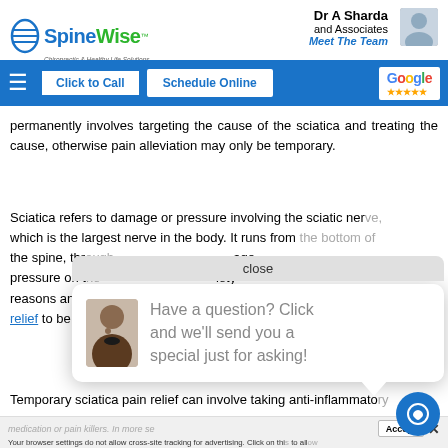SpineWise — Dr A Sharda and Associates — Meet The Team
permanently involves targeting the cause of the sciatica and treating the cause, otherwise pain alleviation may only be temporary.
Sciatica refers to damage or pressure involving the sciatic nerve, which is the largest nerve in the body. It runs from the bottom of the spine, through the damage pressure on the variety reasons and ca pa relief to be obtained.
[Figure (screenshot): Chat popup with headset woman photo and text: Have a question? Click and we'll send you a special just for asking! With a close button.]
Temporary sciatica pain relief can involve taking anti-inflammatory medication or pain killers. In more se well resting the affe
Your browser settings do not allow cross-site tracking for advertising. Click on this to allow AdRoll to use cross-site tracking to tailor ads to you. Learn more or opt out of this AdRoll tracking by clicking here. This message only appears once.